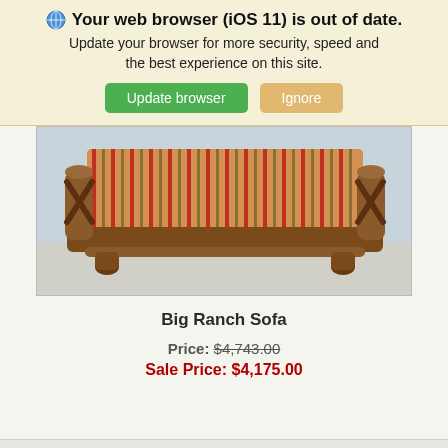Your web browser (iOS 11) is out of date. Update your browser for more security, speed and the best experience on this site.
Update browser | Ignore
[Figure (photo): A rustic log-frame sofa with striped orange, red, and gold upholstery cushions.]
Big Ranch Sofa
Price: $4,743.00
Sale Price: $4,175.00